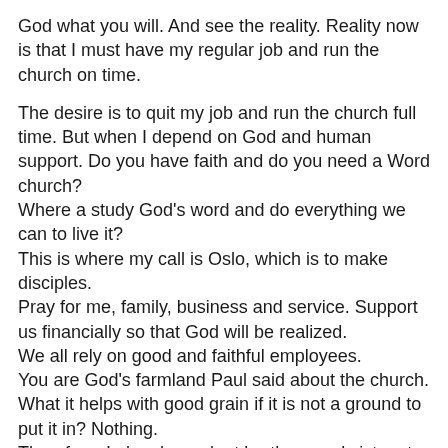God what you will. And see the reality. Reality now is that I must have my regular job and run the church on time.
The desire is to quit my job and run the church full time. But when I depend on God and human support. Do you have faith and do you need a Word church?
Where a study God's word and do everything we can to live it?
This is where my call is Oslo, which is to make disciples.
Pray for me, family, business and service. Support us financially so that God will be realized.
We all rely on good and faithful employees.
You are God's farmland Paul said about the church.
What it helps with good grain if it is not a ground to put it in? Nothing.
Therefore, I also dependent brothers and sisters to support me in ministry and the task in the operating Smyrna Church in Oslo.
Will you be with? Come to the meetings. Join. Support financially and in prayer. With the gift and ministry God has given you. We need you!